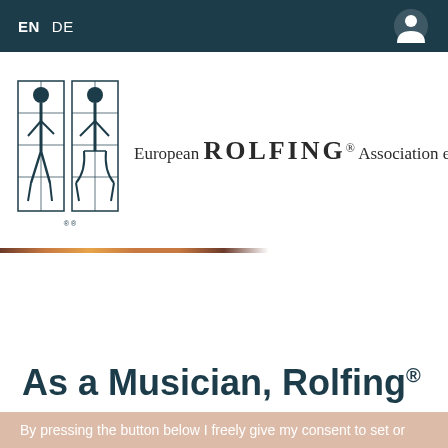EN  DE
[Figure (logo): European Rolfing Association e.V. logo with two human figures in grid and text 'European ROLFING® Association e.V.']
As a Musician, Rolfing®
By pressing the button below I freely give my consent to set or